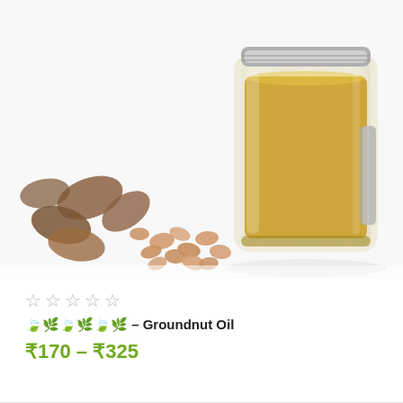[Figure (photo): A glass jar filled with golden-yellow groundnut oil, with peanuts and peanut shells scattered in front on a white background.]
☆ ☆ ☆ ☆ ☆
🍃🌿🍃🌿🍃🌿 – Groundnut Oil
₹170 – ₹325